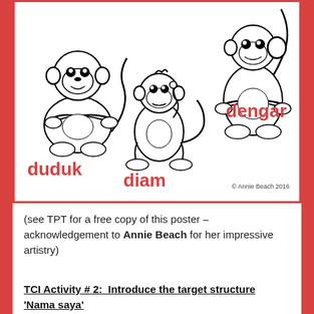[Figure (illustration): A poster with three cartoon monkeys illustrating Malay classroom commands: 'duduk' (sit), 'diam' (quiet), 'dengar' (listen). The monkeys are in black and white line-art style. Copyright Annie Beach 2016.]
(see TPT for a free copy of this poster – acknowledgement to Annie Beach for her impressive artistry)
TCI Activity # 2:  Introduce the target structure 'Nama saya'